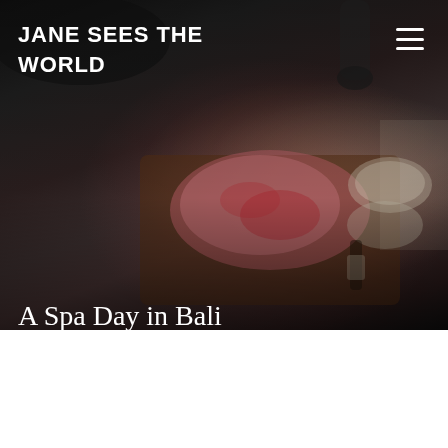[Figure (photo): Hero image of a Bali spa setting showing a wooden tray with pink and red flower petals, creams/scrubs in bowls, and a brush, placed near a dark stone basin/sink. Dark, moody background.]
JANE SEES THE WORLD
A Spa Day in Bali
by Jane / in Travel Destinations / on September 21, 2017